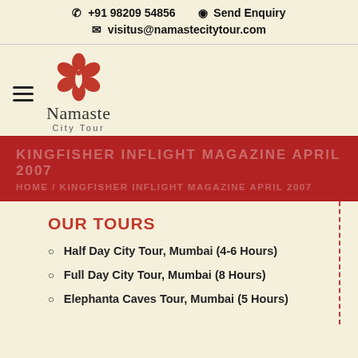✆ +91 98209 54856   ◉ Send Enquiry   ✉ visitus@namastecitytour.com
[Figure (logo): Namaste City Tour logo: red flower with hands in namaste gesture, with text 'Namaste City Tour']
KINGFISHER INFLIGHT MAGAZINE APRIL 2007
HOME / KINGFISHER INFLIGHT MAGAZINE APRIL 2007
OUR TOURS
Half Day City Tour, Mumbai (4-6 Hours)
Full Day City Tour, Mumbai (8 Hours)
Elephanta Caves Tour, Mumbai (5 Hours)